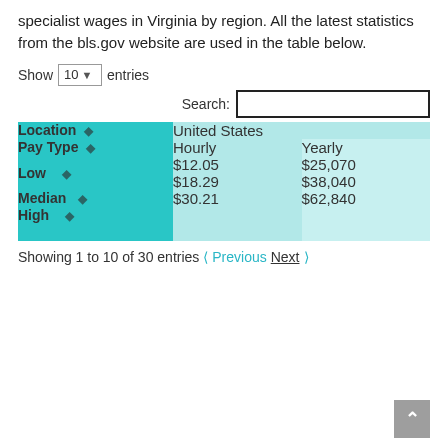specialist wages in Virginia by region. All the latest statistics from the bls.gov website are used in the table below.
| Location | United States |  |
| --- | --- | --- |
| Pay Type | Hourly | Yearly |
| Low | $12.05 | $25,070 |
| Median | $18.29 | $38,040 |
| High | $30.21 | $62,840 |
Showing 1 to 10 of 30 entries ‹ Previous  Next ›